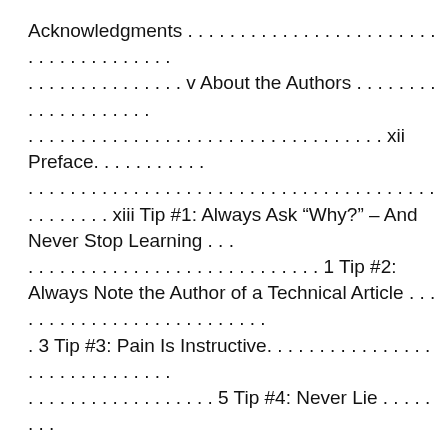Acknowledgments. . . . . . . . . . . . . . . . . . . . . . . . . . . . . . . . . . . . . . . . . . . . . . . . v About the Authors . . . . . . . . . . . . . . . . . . . . . . . . . . . . . . . . . . . . . . . . . . . . . . . . . . . xii Preface. . . . . . . . . . . . . . . . . . . . . . . . . . . . . . . . . . . . . . . . . . . . . . . . . . xiii Tip #1: Always Ask “Why?” – And Never Stop Learning . . . . . . . . . . . . . . . . . . . . . . . . . . . . . . . . . . 1 Tip #2: Always Note the Author of a Technical Article . . . . . . . . . . . . . . . . . . . . . . . . . . . . . . . . . . . . . . . . . . . . . . . . 3 Tip #3: Pain Is Instructive. . . . . . . . . . . . . . . . . . . . . . . . . . . . . . . . . . . . . . . . . . . . . . . . . . . . . 5 Tip #4: Never Lie . . . . . . . . . . . . . . . . . . . . . . . . . . . . . . . . . . . . . . . . . . . . . . . 7 Tip #5: Your Errors. . . . . . . . . . . . . . . . . . . . . . . . . . . . . . . . . . . . . . . . . . . . . . . . . . . . . . . . . . . . 9 Tip #6: Change for the Sake of Change Is Not Always a Good Thing, but “We’ve Always Done It
[Figure (other): Dark rounded square button with a camera/upload icon (circle with arrow pointing up) in white]
Unsere Partner sammeln Daten und verwenden Cookies zur Personalisierung und Messung von Anzeigen. Erfahren Sie, wie wir und unser Anzeigenpartner Google Daten sammeln und verwenden
✕ Cookies zulassen